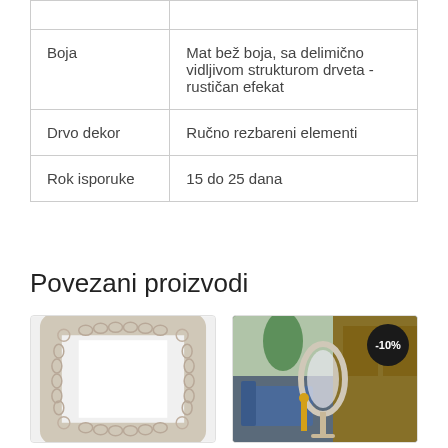|  |  |
| Boja | Mat bež boja, sa delimično vidljivom strukturom drveta - rustičan efekat |
| Drvo dekor | Ručno rezbareni elementi |
| Rok isporuke | 15 do 25 dana |
Povezani proizvodi
[Figure (photo): White ornate carved rectangular mirror frame on light background]
[Figure (photo): Oval white mirror on stand displayed in a room showroom setting, with a golden figurine and blue furniture visible. Has a -10% discount badge.]